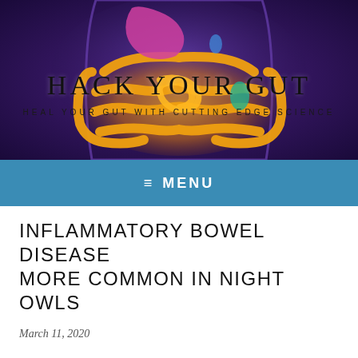[Figure (illustration): Medical illustration of human digestive/gut system with glowing orange intestines on a dark purple background, used as website header banner for 'Hack Your Gut']
HACK YOUR GUT
HEAL YOUR GUT WITH CUTTING EDGE SCIENCE
≡ MENU
INFLAMMATORY BOWEL DISEASE MORE COMMON IN NIGHT OWLS
March 11, 2020